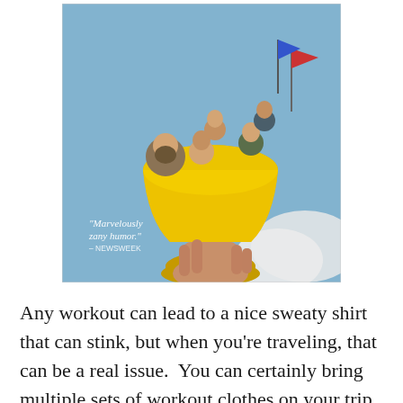[Figure (photo): Movie poster showing several people emerging from a large golden chalice/grail being held by a hand, against a blue sky background. Text on poster reads: 'Marvelously zany humor.' – NEWSWEEK]
Any workout can lead to a nice sweaty shirt that can stink, but when you're traveling, that can be a real issue.  You can certainly bring multiple sets of workout clothes on your trip, but that's not always efficient packing.  So, if you bring